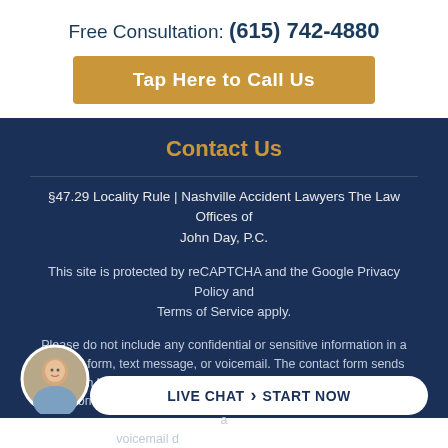Free Consultation: (615) 742-4880
Tap Here to Call Us
Contact Us
§47.29 Locality Rule | Nashville Accident Lawyers The Law Offices of John Day, P.C.
This site is protected by reCAPTCHA and the Google Privacy Policy and Terms of Service apply.
Please do not include any confidential or sensitive information in a contact form, text message, or voicemail. The contact form sends information by non-encrypted email, which is not secure. Submitting a contact form, sending a text message, making a phone call, or leaving a voicemail does not create an attorney-client relationship.
LIVE CHAT › START NOW